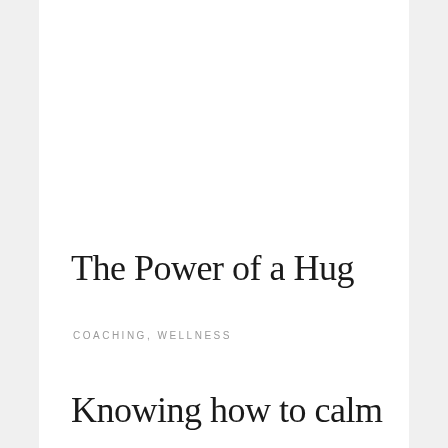The Power of a Hug
COACHING, WELLNESS
Knowing how to calm